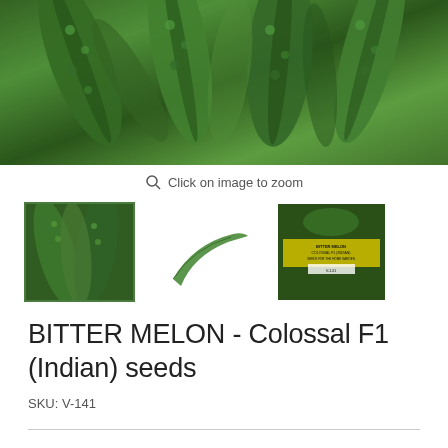[Figure (photo): Close-up photo of bitter melon (Indian variety) vegetables, showing green bumpy ridged surface texture]
Click on image to zoom
[Figure (photo): Three product thumbnail images: first showing bitter melon vegetables (selected with green border), second showing a single bitter melon pod, third showing seed packet label]
BITTER MELON - Colossal F1 (Indian) seeds
SKU: V-141
Price: $4.49